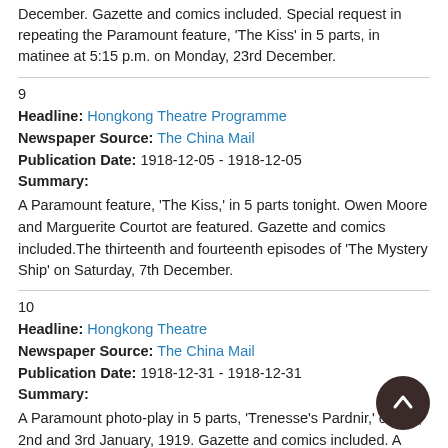December. Gazette and comics included. Special request in repeating the Paramount feature, 'The Kiss' in 5 parts, in matinee at 5:15 p.m. on Monday, 23rd December.
9
Headline: Hongkong Theatre Programme
Newspaper Source: The China Mail
Publication Date: 1918-12-05 - 1918-12-05
Summary:
A Paramount feature, 'The Kiss,' in 5 parts tonight. Owen Moore and Marguerite Courtot are featured. Gazette and comics included.The thirteenth and fourteenth episodes of 'The Mystery Ship' on Saturday, 7th December.
10
Headline: Hongkong Theatre
Newspaper Source: The China Mail
Publication Date: 1918-12-31 - 1918-12-31
Summary:
A Paramount photo-play in 5 parts, 'Trenesse's Pardnir,' on 1st, 2nd and 3rd January, 1919. Gazette and comics included. A Paramount